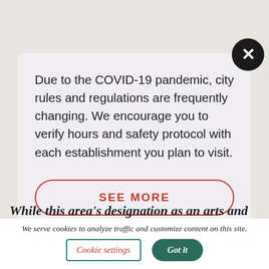Due to the COVID-19 pandemic, city rules and regulations are frequently changing. We encourage you to verify hours and safety protocol with each establishment you plan to visit.
SEE MORE
While this area's designation as an arts and
We serve cookies to analyze traffic and customize content on this site.
Cookie settings
Got it